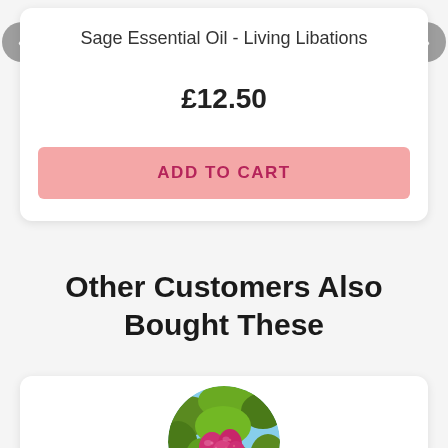Sage Essential Oil - Living Libations
£12.50
ADD TO CART
Other Customers Also Bought These
[Figure (photo): Circular photo of vibrant pink/purple cactus fruits (prickly pear) with green cactus pads in the background]